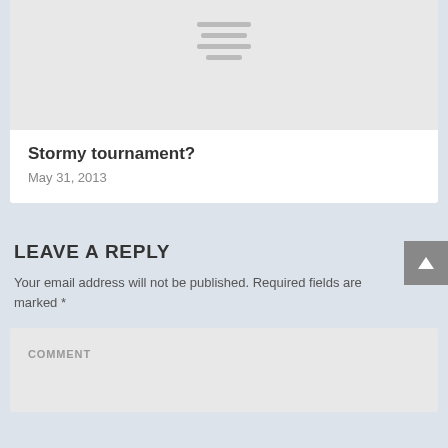[Figure (illustration): Card with placeholder image showing hamburger/menu icon lines on light gray background]
Stormy tournament?
May 31, 2013
LEAVE A REPLY
Your email address will not be published. Required fields are marked *
COMMENT